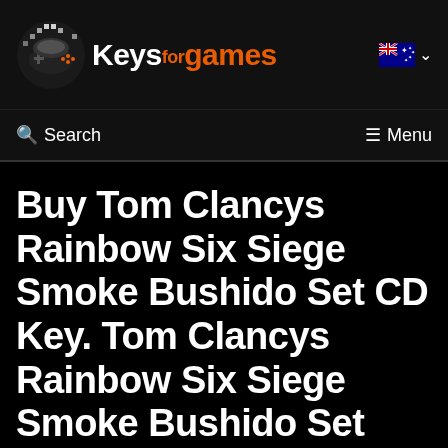[Figure (logo): KeysForGames logo with pixel-art game controller icon and orange/white text]
Search | Menu
Buy Tom Clancys Rainbow Six Siege Smoke Bushido Set CD Key. Tom Clancys Rainbow Six Siege Smoke Bushido Set Uplay Digital Download Code in Price Comparison
Keysforgames.com.au > Uplay Key > Tom Clancys Rainbow Six